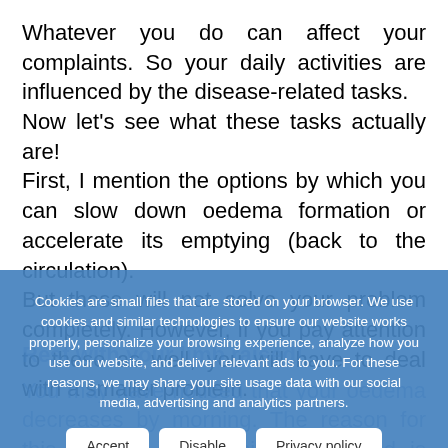Whatever you do can affect your complaints. So your daily activities are influenced by the disease-related tasks.
Now let's see what these tasks actually are!
First, I mention the options by which you can slow down oedema formation or accelerate its emptying (back to the circulation).
But these will not solve your problem completely. However, if you pay attention to these as well, you will have to deal with a smaller problem.
Rest with your limb raised!
You may have noticed that your oedema decreases by morning. The reason for this is that, in a position, the fluid is prevented from your elevated limb spreading throughout your body. As you stand...
Cookies are small files that are stored on your browser. We use cookies and similar technologies to ensure our website works properly, personalize your browsing experience, analyze how you use our website, and deliver relevant ads to you. For these reasons, we may share your site usage data with our social media, advertising and analytics partners.
Accept
Disable
Privacy policy